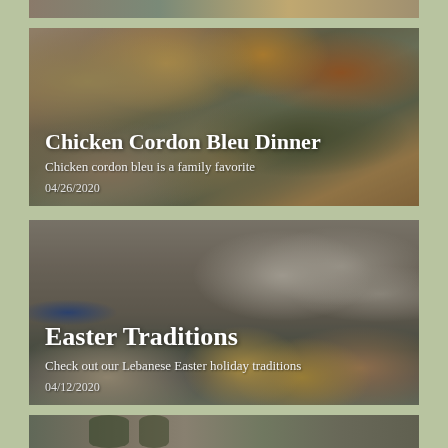[Figure (photo): Partial top card showing food items on a table, cropped at the top]
Chicken Cordon Bleu Dinner
Chicken cordon bleu is a family favorite
04/26/2020
[Figure (photo): Food spread photo overlaid with title Chicken Cordon Bleu Dinner, subtitle and date 04/26/2020]
Easter Traditions
Check out our Lebanese Easter holiday traditions
04/12/2020
[Figure (photo): Easter cookies and colored eggs photo overlaid with title Easter Traditions, subtitle and date 04/12/2020]
[Figure (photo): Partial bottom card showing plants/greenery, cropped at the bottom]